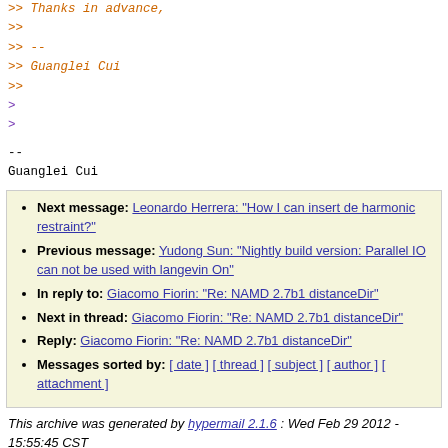>> Thanks in advance,
>>
>> --
>> Guanglei Cui
>>
>
>
--
Guanglei Cui
Next message: Leonardo Herrera: "How I can insert de harmonic restraint?"
Previous message: Yudong Sun: "Nightly build version: Parallel IO can not be used with langevin On"
In reply to: Giacomo Fiorin: "Re: NAMD 2.7b1 distanceDir"
Next in thread: Giacomo Fiorin: "Re: NAMD 2.7b1 distanceDir"
Reply: Giacomo Fiorin: "Re: NAMD 2.7b1 distanceDir"
Messages sorted by: [ date ] [ thread ] [ subject ] [ author ] [ attachment ]
This archive was generated by hypermail 2.1.6 : Wed Feb 29 2012 - 15:55:45 CST